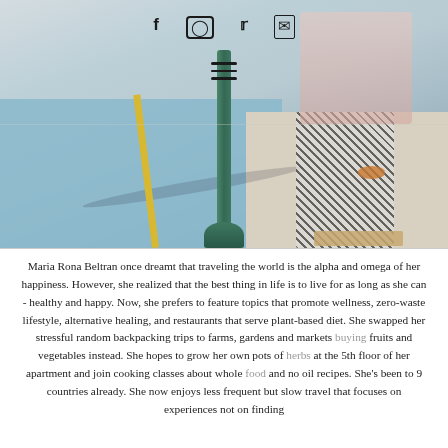[Figure (photo): Street scene photo showing a blue painted bike lane with yellow line, a green street pole in the center, and a person wearing patterned pants and sandals standing on the sidewalk. Social media icons (Facebook, Instagram, Twitter, Email) and a hamburger menu icon are overlaid on the upper portion of the image.]
Maria Rona Beltran once dreamt that traveling the world is the alpha and omega of her happiness. However, she realized that the best thing in life is to live for as long as she can - healthy and happy. Now, she prefers to feature topics that promote wellness, zero-waste lifestyle, alternative healing, and restaurants that serve plant-based diet. She swapped her stressful random backpacking trips to farms, gardens and markets buying fruits and vegetables instead. She hopes to grow her own pots of herbs at the 5th floor of her apartment and join cooking classes about whole food and no oil recipes. She's been to 9 countries already. She now enjoys less frequent but slow travel that focuses on experiences not on finding